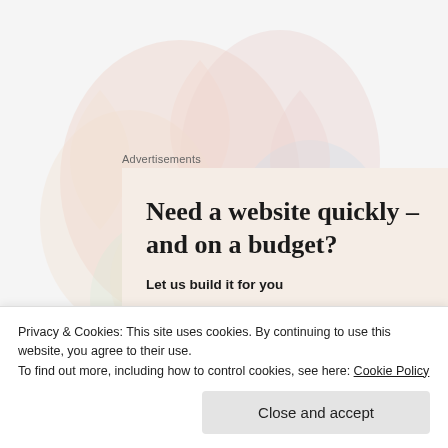[Figure (illustration): Faded colorful background watermark/logo with abstract shapes in red, blue, orange and other colors]
Advertisements
[Figure (infographic): Advertisement box with beige/cream background. Headline: 'Need a website quickly – and on a budget?' Subheadline: 'Let us build it for you'. A partial gold/metallic circular object is visible at bottom right of the ad.]
Privacy & Cookies: This site uses cookies. By continuing to use this website, you agree to their use.
To find out more, including how to control cookies, see here: Cookie Policy
Close and accept